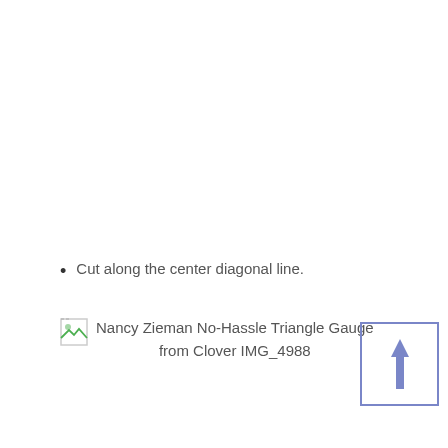Cut along the center diagonal line.
[Figure (illustration): Broken image placeholder icon followed by caption text: Nancy Zieman No-Hassle Triangle Gauge from Clover IMG_4988, with a blue-bordered box containing an upward arrow on the right.]